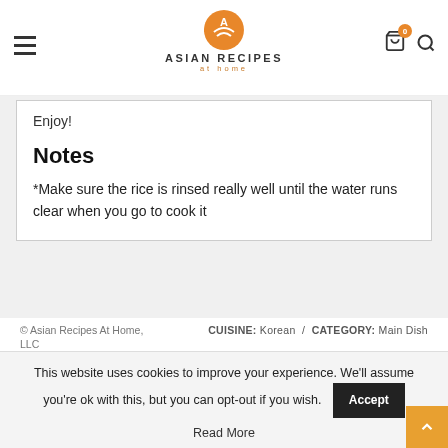Asian Recipes At Home
Enjoy!
Notes
*Make sure the rice is rinsed really well until the water runs clear when you go to cook it
© Asian Recipes At Home, LLC    CUISINE: Korean / CATEGORY: Main Dish
DID YOU MAKE THIS RECIPE?
We love seeing your creations from our recipes! Tag us on Instagram at @AsianRecipesAtHome
This website uses cookies to improve your experience. We'll assume you're ok with this, but you can opt-out if you wish.
Read More